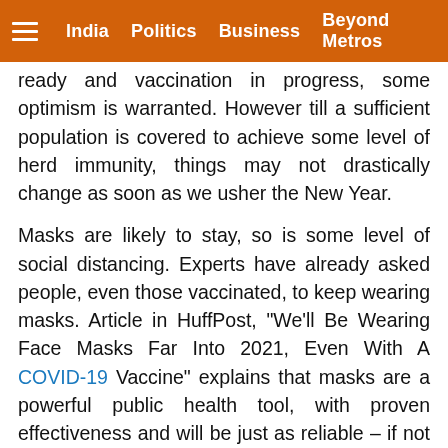India   Politics   Business   Beyond Metros
ready and vaccination in progress, some optimism is warranted. However till a sufficient population is covered to achieve some level of herd immunity, things may not drastically change as soon as we usher the New Year.

Masks are likely to stay, so is some level of social distancing. Experts have already asked people, even those vaccinated, to keep wearing masks. Article in HuffPost, “We'll Be Wearing Face Masks Far Into 2021, Even With A COVID-19 Vaccine” explains that masks are a powerful public health tool, with proven effectiveness and will be just as reliable – if not more – as vaccine comes along. Mask wearing is also likely to be important since we will not have enough doses at first, it will take several months to vaccinate enough people and they will be vaccinated in two doses about three to four weeks apart, and vaccines will